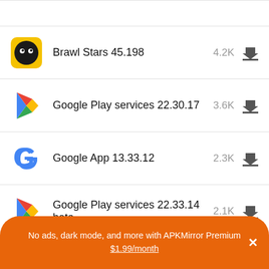Brawl Stars 45.198 — 4.2K
Google Play services 22.30.17 — 3.6K
Google App 13.33.12 — 2.3K
Google Play services 22.33.14 beta — 2.1K
Facebook Lite 318.0.0.16.105 — 1.7K
No ads, dark mode, and more with APKMirror Premium ✕ $1.99/month